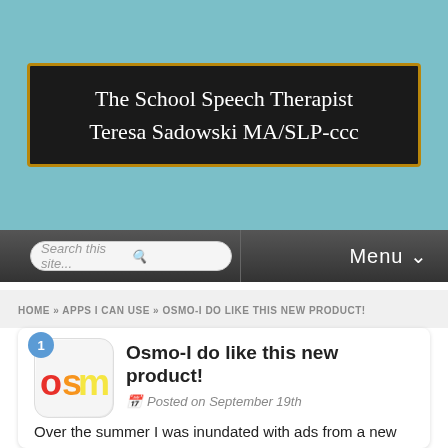The School Speech Therapist
Teresa Sadowski MA/SLP-ccc
Search this site...
Menu
HOME » APPS I CAN USE » OSMO-I DO LIKE THIS NEW PRODUCT!
[Figure (logo): Osmo app icon with blue badge showing number 1 and colorful Osmo logo letters]
Osmo-I do like this new product!
Posted on September 19th
Over the summer I was inundated with ads from a new educational product called Osmo. It's basically a very unique app that works with your iPad and incorporates manipulative. After seeing the demo video I was hooked and I had to have one. Mine arrived this week.
The special edition pack came with 2 sets of game manipulatives, Tanagram and Words. A third game called Newton was available for download (using the manipulatives of